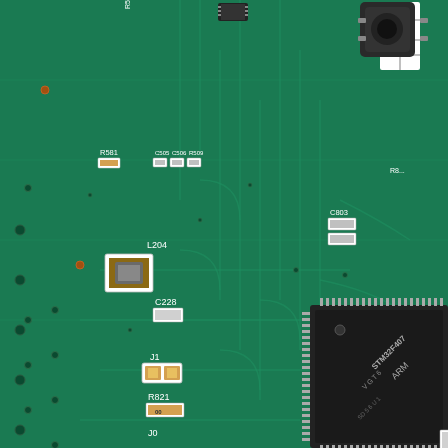[Figure (photo): Close-up photograph of a green PCB (printed circuit board) showing various SMD components including inductors (L204, L301), capacitors (C228, C811, C803), resistors (R821, R822, R581), jumpers (J0, J1), and an STM32F407 ARM microcontroller chip with LQFP package. A white label '3532 S A' is visible in the top center area, and a tactile push button is visible in the top right. Circuit traces are visible throughout the green board. Component identifiers are printed in white next to their respective components.]